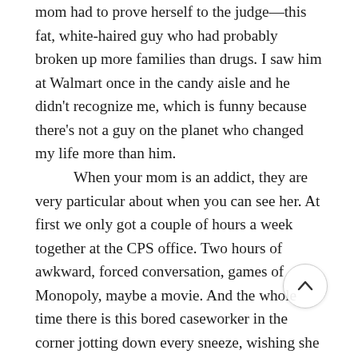mom had to prove herself to the judge—this fat, white-haired guy who had probably broken up more families than drugs. I saw him at Walmart once in the candy aisle and he didn't recognize me, which is funny because there's not a guy on the planet who changed my life more than him.

When your mom is an addict, they are very particular about when you can see her. At first we only got a couple of hours a week together at the CPS office. Two hours of awkward, forced conversation, games of Monopoly, maybe a movie. And the whole time there is this bored caseworker in the corner jotting down every sneeze, wishing she could be at home with her own damn family. One time we watched that Tom Hanks movie whe kid turns into a grown man overnight. I ha a heart attack when the lady was standing there in